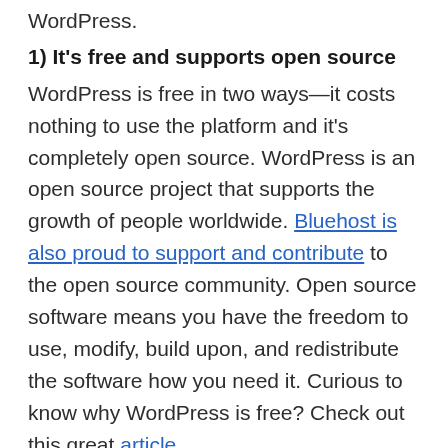WordPress.
1) It's free and supports open source
WordPress is free in two ways—it costs nothing to use the platform and it's completely open source. WordPress is an open source project that supports the growth of people worldwide. Bluehost is also proud to support and contribute to the open source community. Open source software means you have the freedom to use, modify, build upon, and redistribute the software how you need it. Curious to know why WordPress is free? Check out this great article.
2) Easy peasy
Because the platform is free, it's super easy to get started. All you need to do is install it on your computer and you're set! So many websites are